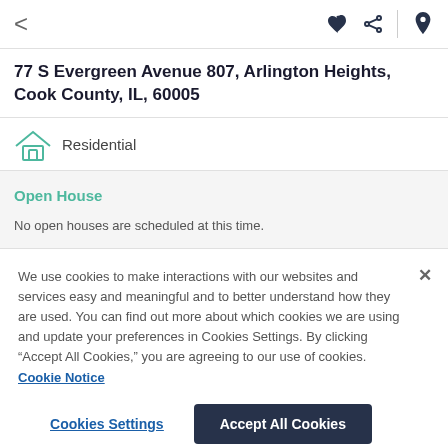< ♥ share pin
77 S Evergreen Avenue 807, Arlington Heights, Cook County, IL, 60005
Residential
Open House
No open houses are scheduled at this time.
We use cookies to make interactions with our websites and services easy and meaningful and to better understand how they are used. You can find out more about which cookies we are using and update your preferences in Cookies Settings. By clicking "Accept All Cookies," you are agreeing to our use of cookies. Cookie Notice
Cookies Settings | Accept All Cookies